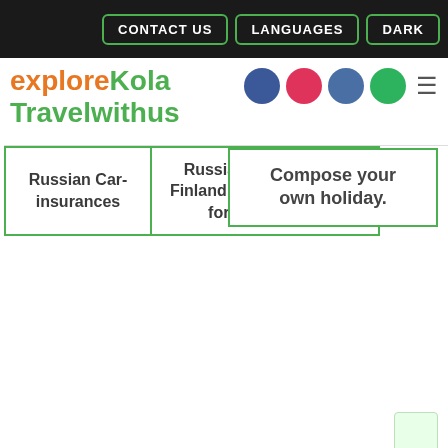CONTACT US | LANGUAGES | DARK
exploreKola Travelwithus
Compose your own holiday.
Russian Car-insurances
Russian borders with Finland Estonia are open for car-tourism